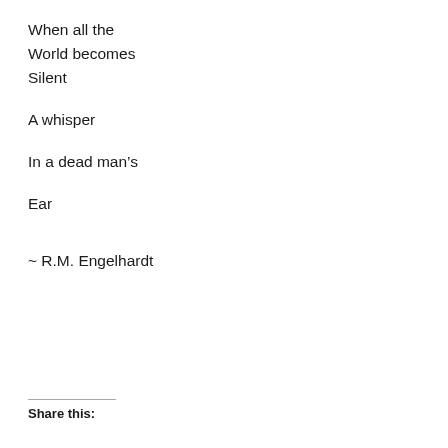When all the
World becomes
Silent

A whisper

In a dead man's

Ear
~ R.M. Engelhardt
Share this: